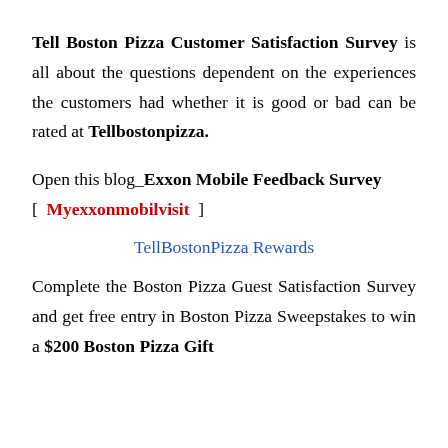Tell Boston Pizza Customer Satisfaction Survey is all about the questions dependent on the experiences the customers had whether it is good or bad can be rated at Tellbostonpizza.
Open this blog_Exxon Mobile Feedback Survey [ Myexxonmobilvisit ]
TellBostonPizza Rewards
Complete the Boston Pizza Guest Satisfaction Survey and get free entry in Boston Pizza Sweepstakes to win a $200 Boston Pizza Gift